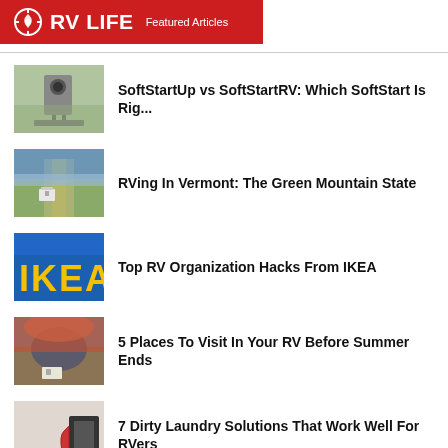RV LIFE Featured Articles
SoftStartUp vs SoftStartRV: Which SoftStart Is Rig...
RVing In Vermont: The Green Mountain State
Top RV Organization Hacks From IKEA
5 Places To Visit In Your RV Before Summer Ends
7 Dirty Laundry Solutions That Work Well For RVers
10 Campsites With Lakes Where You Can Cool Off